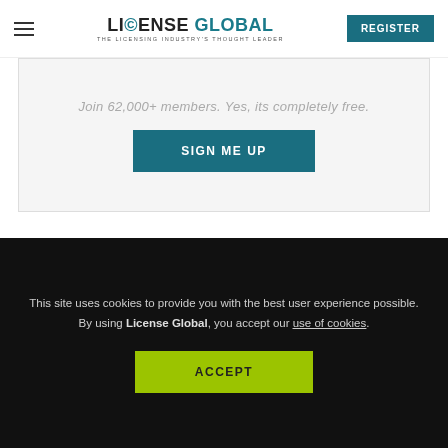License Global — The Licensing Industry's Thought Leader | REGISTER
Join 62,000+ members. Yes, its completely free.
SIGN ME UP
You May Also Like
Loading..
This site uses cookies to provide you with the best user experience possible. By using License Global, you accept our use of cookies.
ACCEPT